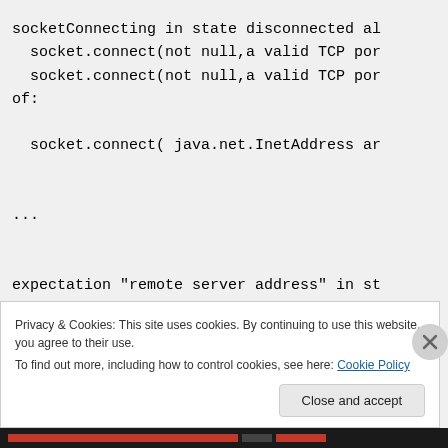socketConnecting in state disconnected al
  socket.connect(not null,a valid TCP por
  socket.connect(not null,a valid TCP por
of:

  socket.connect( java.net.InetAddress ar


...


expectation "remote server address" in st
  socket.connect(eq(),eq())
Privacy & Cookies: This site uses cookies. By continuing to use this website, you agree to their use.
To find out more, including how to control cookies, see here: Cookie Policy